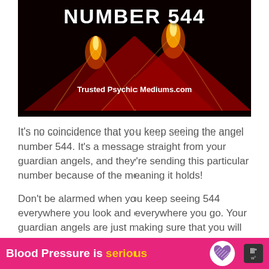[Figure (screenshot): Dark background image with candles/pyramids emitting fire/light in red and gold tones, with text 'NUMBER 544' at top and 'Trusted Psychic Mediums.com' overlaid]
It's no coincidence that you keep seeing the angel number 544. It's a message straight from your guardian angels, and they're sending this particular number because of the meaning it holds!
Don't be alarmed when you keep seeing 544 everywhere you look and everywhere you go. Your guardian angels are just making sure that you will get their message, and that you will not
[Figure (infographic): Pink/magenta advertisement banner reading 'Blood Pressure is serious' with a purple heart logo and small icon on the right]